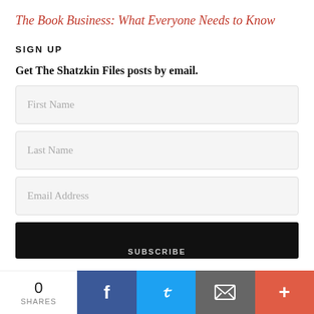The Book Business: What Everyone Needs to Know
SIGN UP
Get The Shatzkin Files posts by email.
[Figure (screenshot): Email signup form with First Name, Last Name, and Email Address input fields, followed by a black Subscribe button, and a share bar at the bottom showing 0 shares with Facebook, Twitter, Email, and More buttons.]